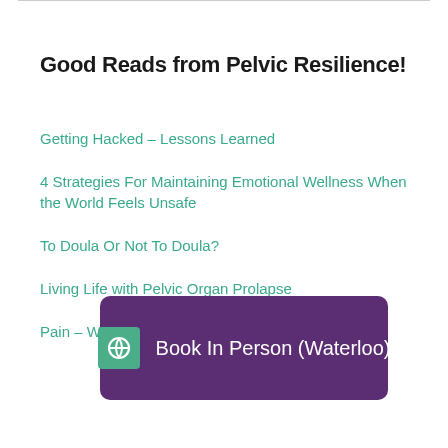Good Reads from Pelvic Resilience!
Getting Hacked – Lessons Learned
4 Strategies For Maintaining Emotional Wellness When the World Feels Unsafe
To Doula Or Not To Doula?
Living Life with Pelvic Organ Prolapse
Pain – WTF?
[Figure (other): Purple rounded rectangle button with green icon and text 'Book In Person (Waterloo)']